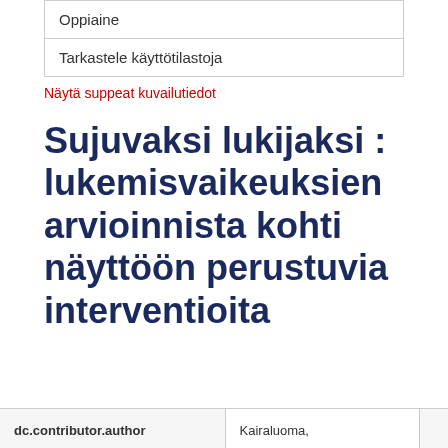Oppiaine
Tarkastele käyttötilastoja
Näytä suppeat kuvailutiedot
Sujuvaksi lukijaksi : lukemisvaikeuksien arvioinnista kohti näyttöön perustuvia interventioita
| dc.contributor.author | Kairaluoma, |  |
| --- | --- | --- |